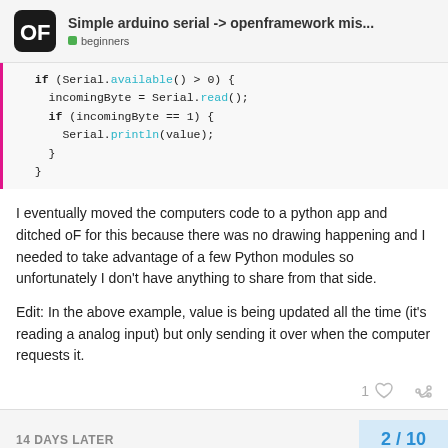Simple arduino serial -> openframework mis... | beginners
if (Serial.available() > 0) {
    incomingByte = Serial.read();
    if (incomingByte == 1) {
      Serial.println(value);
    }
  }
I eventually moved the computers code to a python app and ditched oF for this because there was no drawing happening and I needed to take advantage of a few Python modules so unfortunately I don't have anything to share from that side.
Edit: In the above example, value is being updated all the time (it's reading a analog input) but only sending it over when the computer requests it.
14 DAYS LATER
2 / 10